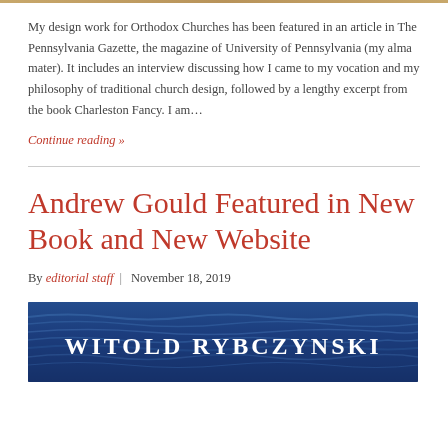My design work for Orthodox Churches has been featured in an article in The Pennsylvania Gazette, the magazine of University of Pennsylvania (my alma mater). It includes an interview discussing how I came to my vocation and my philosophy of traditional church design, followed by a lengthy excerpt from the book Charleston Fancy. I am…
Continue reading »
Andrew Gould Featured in New Book and New Website
By editorial staff | November 18, 2019
[Figure (photo): Book cover image with dark blue water-texture background and white text reading WITOLD RYBCZYNSKI]